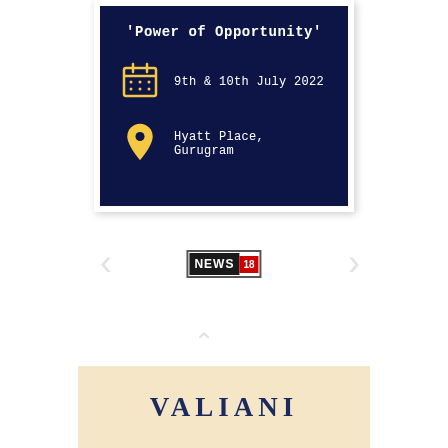[Figure (infographic): Dark navy blue event card with white border showing 'Power of Opportunity' title, calendar icon with date '9th & 10th July 2022', and location pin icon with 'Hyatt Place, Gurugram']
[Figure (logo): News18 logo with black background text 'NEWS' and red background number '18']
[Figure (infographic): Cream/beige banner at bottom with 'VALIANI' text in dark navy bold serif font]